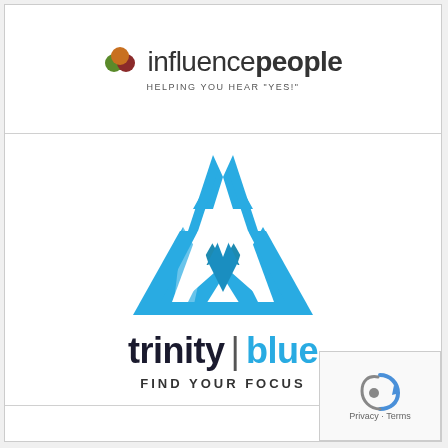[Figure (logo): influence people logo with colored circles (green, orange, dark red) and text 'influencepeople' with tagline 'HELPING YOU HEAR YES!']
[Figure (logo): Trinity Blue logo: a blue geometric triangle knot symbol above the text 'trinity | blue' and tagline 'FIND YOUR FOCUS']
[Figure (logo): reCAPTCHA widget in bottom right corner with Privacy and Terms links]